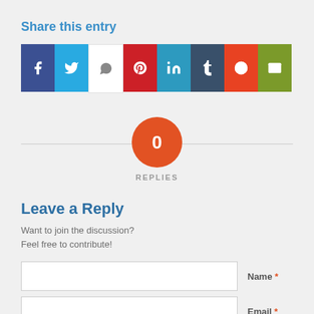Share this entry
[Figure (infographic): Row of 8 social share icon buttons: Facebook (dark blue), Twitter (light blue), WhatsApp (white with grey icon), Pinterest (red), LinkedIn (teal), Tumblr (dark teal), Reddit (orange-red), Email (olive green)]
0 REPLIES
Leave a Reply
Want to join the discussion?
Feel free to contribute!
Name *
Email *